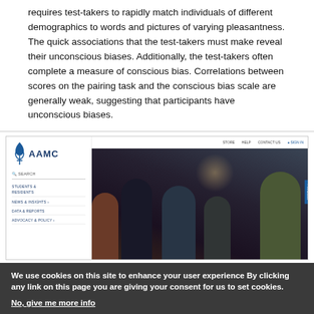requires test-takers to rapidly match individuals of different demographics to words and pictures of varying pleasantness. The quick associations that the test-takers must make reveal their unconscious biases. Additionally, the test-takers often complete a measure of conscious bias. Correlations between scores on the pairing task and the conscious bias scale are generally weak, suggesting that participants have unconscious biases.
[Figure (screenshot): Screenshot of AAMC website showing logo, navigation sidebar with links (Students & Residents, News & Insights, Data & Reports, Advocacy & Policy), and a main photo of a group of people in a tunnel/underground setting, with a top navigation bar showing Store, Help, Contact Us, Sign In links.]
We use cookies on this site to enhance your user experience By clicking any link on this page you are giving your consent for us to set cookies. No, give me more info